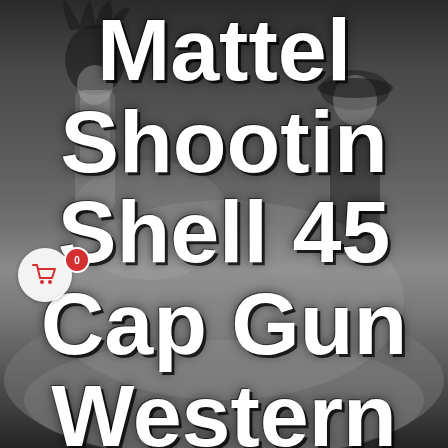[Figure (photo): Black and white photograph of two children playing cowboys and indians outdoors. One child wears a Native American headdress, the other wears a cowboy hat and vest.]
Mattel Shootin Shell 45 Cap Gun Western